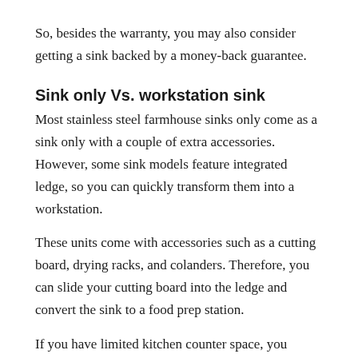So, besides the warranty, you may also consider getting a sink backed by a money-back guarantee.
Sink only Vs. workstation sink
Most stainless steel farmhouse sinks only come as a sink only with a couple of extra accessories. However, some sink models feature integrated ledge, so you can quickly transform them into a workstation.
These units come with accessories such as a cutting board, drying racks, and colanders. Therefore, you can slide your cutting board into the ledge and convert the sink to a food prep station.
If you have limited kitchen counter space, you should